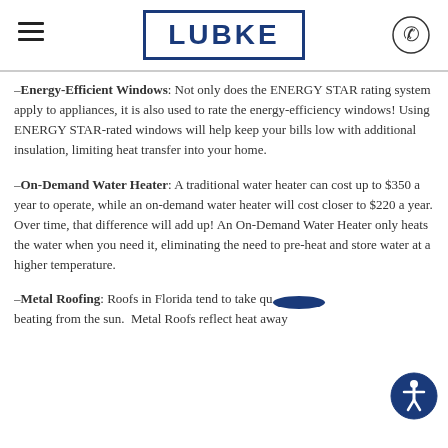LUBKE
Energy-Efficient Windows: Not only does the ENERGY STAR rating system apply to appliances, it is also used to rate the energy-efficiency windows! Using ENERGY STAR-rated windows will help keep your bills low with additional insulation, limiting heat transfer into your home.
On-Demand Water Heater: A traditional water heater can cost up to $350 a year to operate, while an on-demand water heater will cost closer to $220 a year. Over time, that difference will add up! An On-Demand Water Heater only heats the water when you need it, eliminating the need to pre-heat and store water at a higher temperature.
Metal Roofing: Roofs in Florida tend to take quite a beating from the sun. Metal Roofs reflect heat away